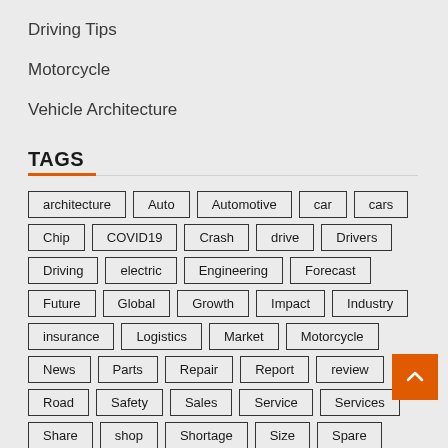Driving Tips
Motorcycle
Vehicle Architecture
TAGS
architecture Auto Automotive car cars Chip COVID19 Crash drive Drivers Driving electric Engineering Forecast Future Global Growth Impact Industry insurance Logistics Market Motorcycle News Parts Repair Report review Road Safety Sales Service Services Share shop Shortage Size Spare